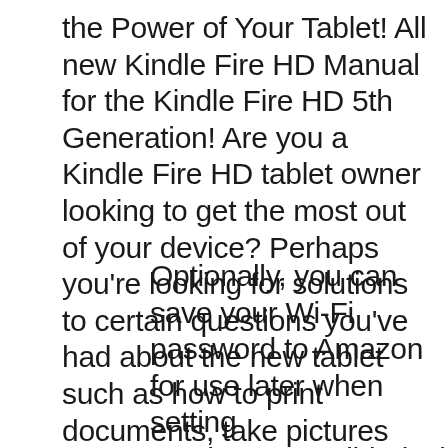the Power of Your Tablet! All new Kindle Fire HD Manual for the Kindle Fire HD 5th Generation! Are you a Kindle Fire HD tablet owner looking to get the most out of your device? Perhaps you're looking for solutions to certain questions you've had about the new tablet such as how to print documents, take pictures with the camera, set
Optionally, you can save your Wi-Fi password to Amazon for use later when setting upothercompatibledevices.Too ptoutofthisfeature,verifythatth eSavepassword to Amazon option is not selected when you enter your network